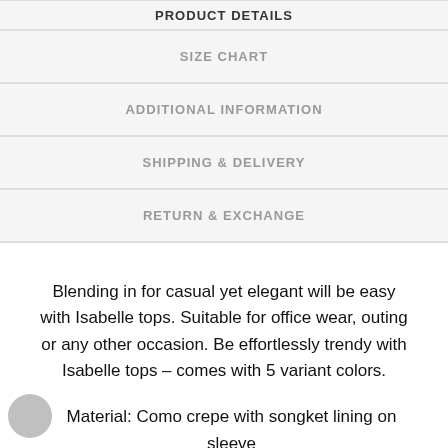PRODUCT DETAILS
SIZE CHART
ADDITIONAL INFORMATION
SHIPPING & DELIVERY
RETURN & EXCHANGE
Blending in for casual yet elegant will be easy with Isabelle tops. Suitable for office wear, outing or any other occasion. Be effortlessly trendy with Isabelle tops – comes with 5 variant colors.
Material: Como crepe with songket lining on sleeve